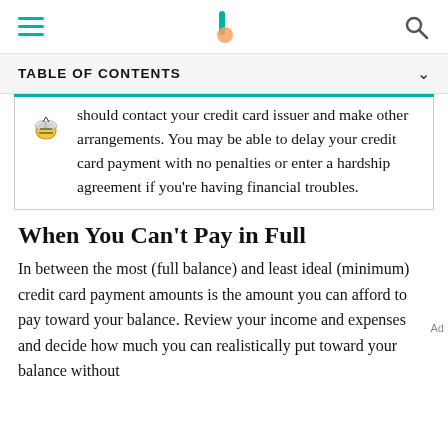TABLE OF CONTENTS
should contact your credit card issuer and make other arrangements. You may be able to delay your credit card payment with no penalties or enter a hardship agreement if you're having financial troubles.
When You Can't Pay in Full
In between the most (full balance) and least ideal (minimum) credit card payment amounts is the amount you can afford to pay toward your balance. Review your income and expenses and decide how much you can realistically put toward your balance without